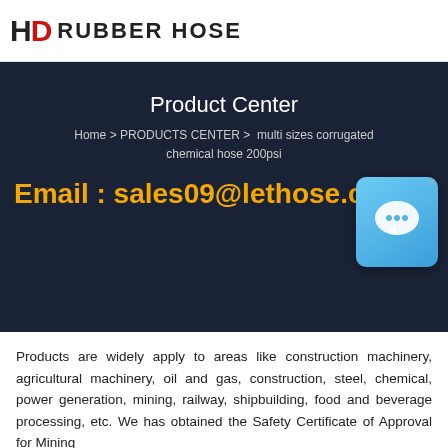[Figure (logo): HD Rubber Hose logo with red D and black H letters followed by RUBBER HOSE text]
Product Center
Home > PRODUCTS CENTER > multi sizes corrugated chemical hose 200psi
Email : sales09@lethose.c…
[Figure (other): Blue chat/messenger widget icon with X close button]
Products are widely apply to areas like construction machinery, agricultural machinery, oil and gas, construction, steel, chemical, power generation, mining, railway, shipbuilding, food and beverage processing, etc. We has obtained the Safety Certificate of Approval for Mining